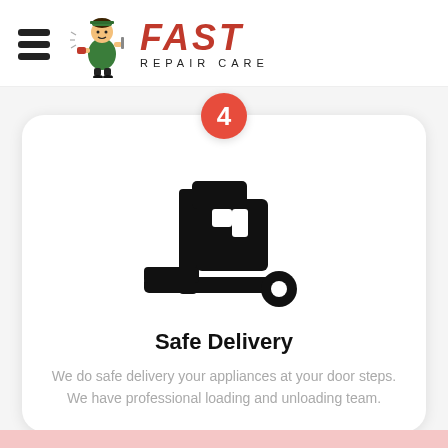[Figure (logo): Fast Repair Care logo with hamburger menu icon on left, cartoon repairman figure, and FAST REPAIR CARE text in red italic]
[Figure (illustration): Black silhouette icon of a hand truck/dolly with a box package being delivered]
Safe Delivery
We do safe delivery your appliances at your door steps. We have professional loading and unloading team.